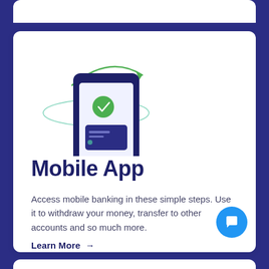[Figure (illustration): A dark navy smartphone illustration with a green checkmark circle on the screen and a credit/debit card shown below it. A green curved arrow arcs upward-right from the top of the phone, and a thin elliptical line orbits the phone at mid-level.]
Mobile App
Access mobile banking in these simple steps. Use it to withdraw your money, transfer to other accounts and so much more.
Learn More →